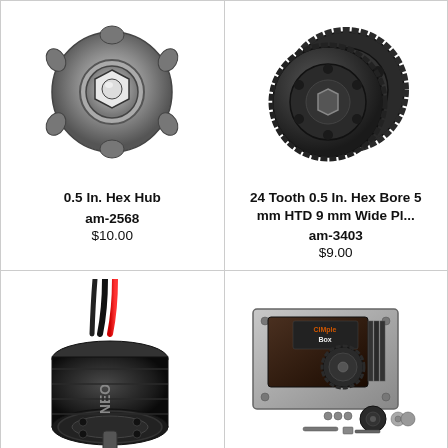[Figure (photo): 0.5 In. Hex Hub - metal hub component with hex bore and mounting tabs]
0.5 In. Hex Hub
am-2568
$10.00
[Figure (photo): 24 Tooth 0.5 In. Hex Bore 5 mm HTD 9 mm Wide pulley/sprocket - two black plastic gears]
24 Tooth 0.5 In. Hex Bore 5 mm HTD 9 mm Wide Pl...
am-3403
$9.00
[Figure (photo): NEO brushless motor - black cylindrical motor with red and black wires]
[Figure (photo): CIMple Box gearbox with accessories - gearbox mounted on metal plate with gears and hardware]